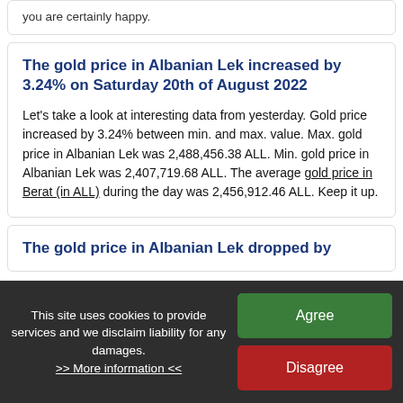you are certainly happy.
The gold price in Albanian Lek increased by 3.24% on Saturday 20th of August 2022
Let's take a look at interesting data from yesterday. Gold price increased by 3.24% between min. and max. value. Max. gold price in Albanian Lek was 2,488,456.38 ALL. Min. gold price in Albanian Lek was 2,407,719.68 ALL. The average gold price in Berat (in ALL) during the day was 2,456,912.46 ALL. Keep it up.
The gold price in Albanian Lek dropped by
This site uses cookies to provide services and we disclaim liability for any damages.
>> More information <<